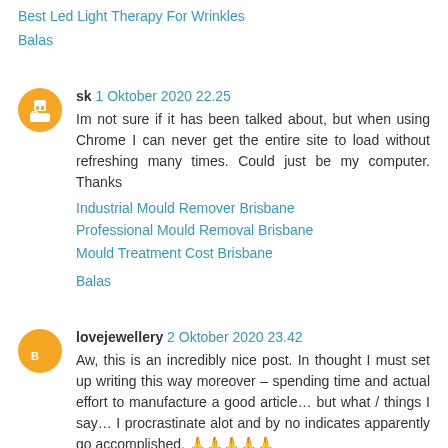Best Led Light Therapy For Wrinkles
Balas
sk 1 Oktober 2020 22.25
Im not sure if it has been talked about, but when using Chrome I can never get the entire site to load without refreshing many times. Could just be my computer. Thanks
Industrial Mould Remover Brisbane
Professional Mould Removal Brisbane
Mould Treatment Cost Brisbane
Balas
lovejewellery 2 Oktober 2020 23.42
Aw, this is an incredibly nice post. In thought I must set up writing this way moreover – spending time and actual effort to manufacture a good article… but what / things I say… I procrastinate alot and by no indicates apparently go accomplished. 🙏🙏🙏🙏🙏